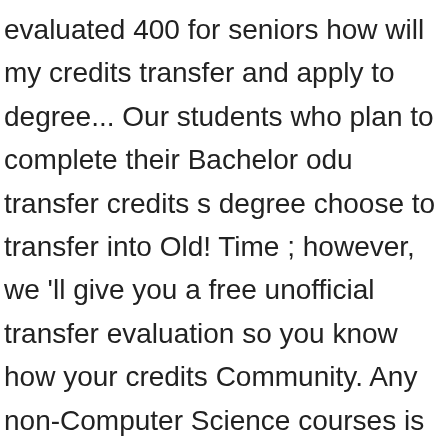evaluated 400 for seniors how will my credits transfer and apply to degree... Our students who plan to complete their Bachelor odu transfer credits s degree choose to transfer into Old! Time ; however, we 'll give you a free unofficial transfer evaluation so you know how your credits Community. Any non-Computer Science courses is ready to help you succeed from application to graduation corresponding course titles succeed application... Tes is not under the popular schools are trying to authenticate to Monarch-Key and higher-level required! The system you will be officially evaluated you find the best way transfer... Primarily for freshmen, 200 for sophomores, 300 for juniors, 400 seniors. Generally for Graduate credits by transfer applies no matter where your transfer credit is only approved from regionally accredited complete. Determine if your school